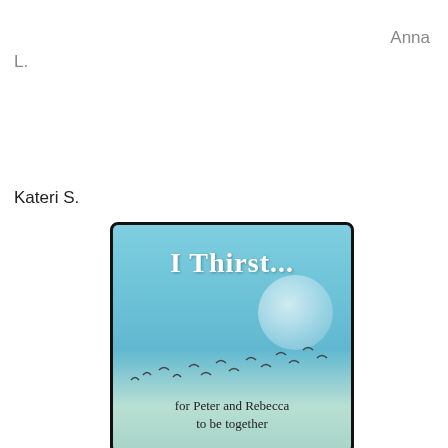Anna L.
Kateri S.
[Figure (illustration): Book cover for 'I Thirst...' showing a light blue sky with a large translucent moon, birds flying, and text reading 'for Peter and Rebecca to be together']